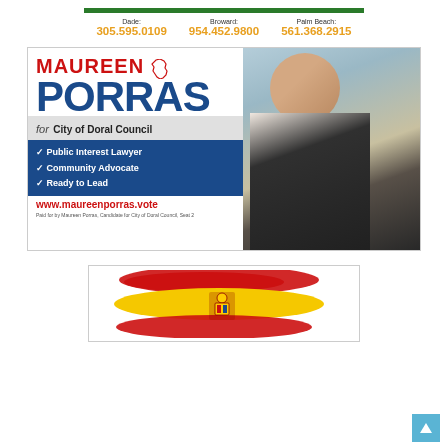Dade: 305.595.0109   Broward: 954.452.9800   Palm Beach: 561.368.2915
[Figure (photo): Campaign advertisement for Maureen Porras for City of Doral Council. Shows candidate's name in large bold red and blue text, checkmark bullet points listing Public Interest Lawyer, Community Advocate, Ready to Lead, website www.maureenporras.vote, and a photo of the candidate on the right side.]
[Figure (illustration): Spanish flag illustration with brush-stroke style design. Red and yellow horizontal bands with the Spanish coat of arms in the center.]